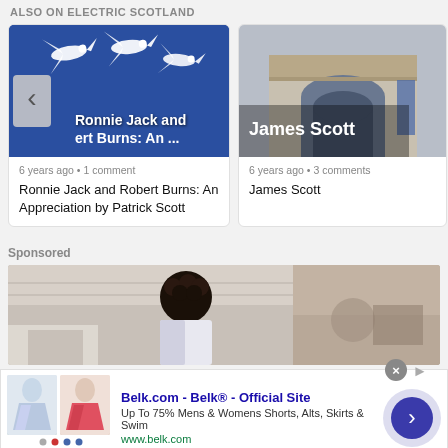ALSO ON ELECTRIC SCOTLAND
[Figure (photo): Article card: blue background with white doves, navigation arrow, title overlay 'Ronnie Jack and Robert Burns: An ...']
6 years ago • 1 comment
Ronnie Jack and Robert Burns: An Appreciation by Patrick Scott
[Figure (photo): Article card: photo of ornate building entrance/archway in gray tones with blue accent, title overlay 'James Scott']
6 years ago • 3 comments
James Scott
Sponsored
[Figure (photo): Sponsored section: two advertisement images side by side, person with curly hair on left, blurred image on right]
[Figure (photo): Ad banner: Belk.com - Belk® - Official Site. Up To 75% Mens & Womens Shorts, Alts, Skirts & Swim. www.belk.com. Navigation button on right.]